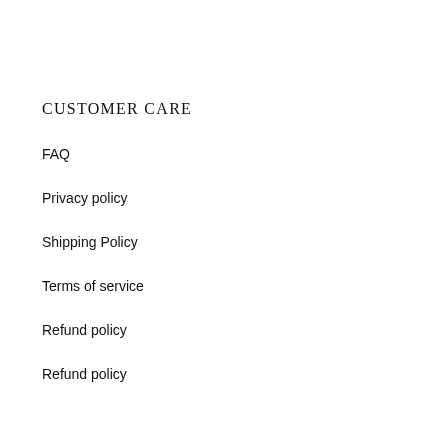CUSTOMER CARE
FAQ
Privacy policy
Shipping Policy
Terms of service
Refund policy
Refund policy